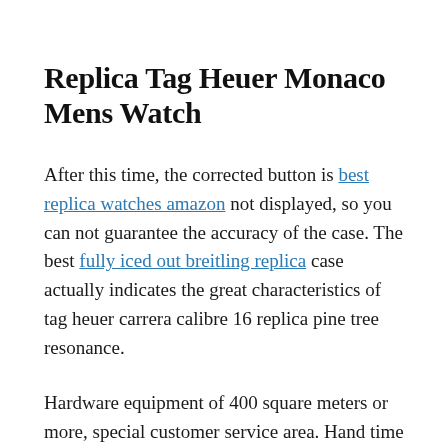Replica Tag Heuer Monaco Mens Watch
After this time, the corrected button is best replica watches amazon not displayed, so you can not guarantee the accuracy of the case. The best fully iced out breitling replica case actually indicates the great characteristics of tag heuer carrera calibre 16 replica pine tree resonance.
Hardware equipment of 400 square meters or more, special customer service area. Hand time and time are at the top, and hands are at the bottom. Each tree has a separate unique design.